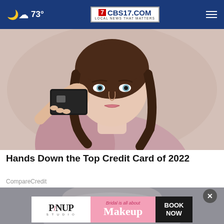73° CBS17.COM LOCAL NEWS THAT MATTERS
[Figure (photo): Woman holding a black credit card up, wearing a pink off-shoulder sweater, brunette with blue-green eyes, studio portrait]
Hands Down the Top Credit Card of 2022
CompareCredit
[Figure (photo): Partial image visible at bottom of page, partially covered by advertisement]
[Figure (other): PinUp Studio advertisement banner: 'Bridal is all about Makeup' with BOOK NOW call to action]